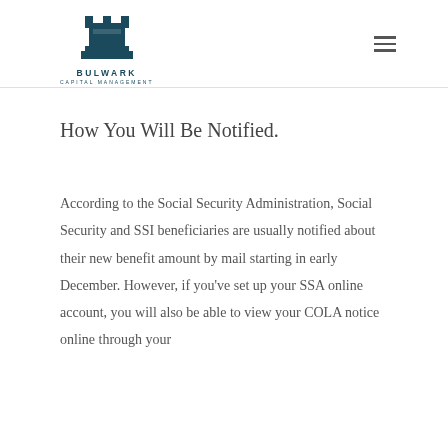Bulwark Capital Management
How You Will Be Notified.
According to the Social Security Administration, Social Security and SSI beneficiaries are usually notified about their new benefit amount by mail starting in early December. However, if you've set up your SSA online account, you will also be able to view your COLA notice online through your